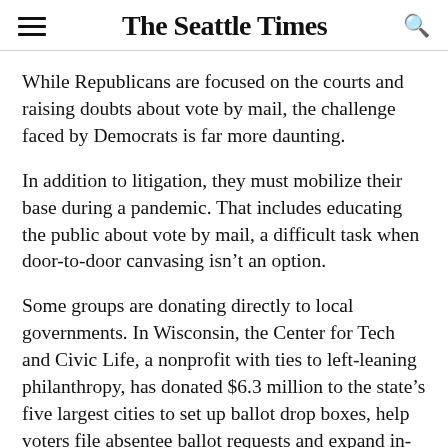The Seattle Times
While Republicans are focused on the courts and raising doubts about vote by mail, the challenge faced by Democrats is far more daunting.
In addition to litigation, they must mobilize their base during a pandemic. That includes educating the public about vote by mail, a difficult task when door-to-door canvasing isn’t an option.
Some groups are donating directly to local governments. In Wisconsin, the Center for Tech and Civic Life, a nonprofit with ties to left-leaning philanthropy, has donated $6.3 million to the state’s five largest cities to set up ballot drop boxes, help voters file absentee ballot requests and expand in-